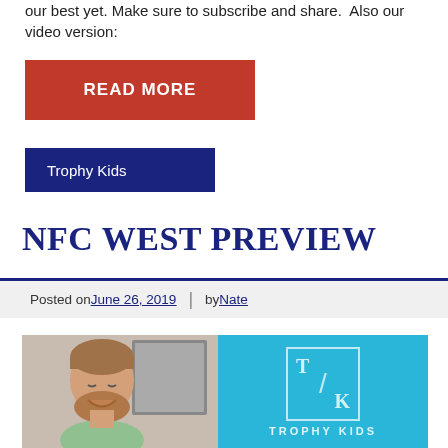our best yet. Make sure to subscribe and share.  Also our video version:
[Figure (other): Red 'READ MORE' button]
[Figure (other): Dark navy 'Trophy Kids' tag/button]
NFC WEST PREVIEW
Posted on June 26, 2019  |  by Nate
[Figure (photo): Featured image showing a bearded man smiling on the left half and a Trophy Kids logo on a cyan/blue background on the right half]